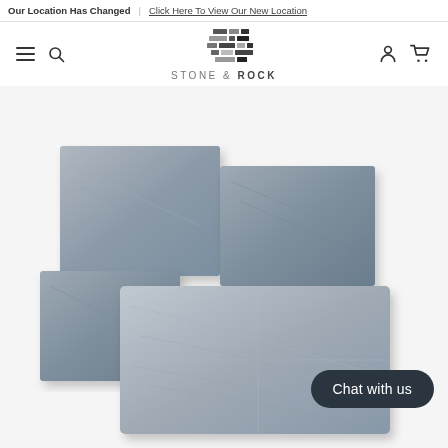Our Location Has Changed | Click Here To View Our New Location
[Figure (logo): Stone & Rock logo — stacked rectangular stone pattern in black/dark grey above text STONE & ROCK]
[Figure (photo): Grey/blue natural stone slate tiles arranged in overlapping staggered pattern showing multiple sizes, product photograph on white background]
Chat with us